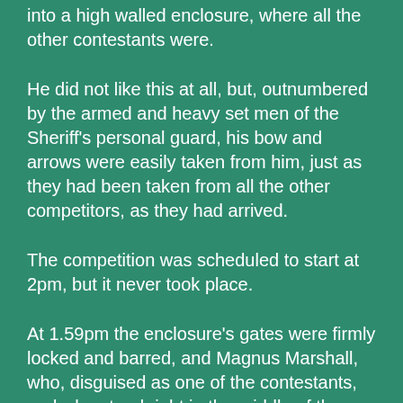into a high walled enclosure, where all the other contestants were.
He did not like this at all, but, outnumbered by the armed and heavy set men of the Sheriff's personal guard, his bow and arrows were easily taken from him, just as they had been taken from all the other competitors, as they had arrived.
The competition was scheduled to start at 2pm, but it never took place.
At 1.59pm the enclosure's gates were firmly locked and barred, and Magnus Marshall, who, disguised as one of the contestants, and who stood right in the middle of the assembled archers, cast his spell.
Everybody but Magnus involuntarily adopted an archer's pose, and then morphed into a bronze statue!  Magnus